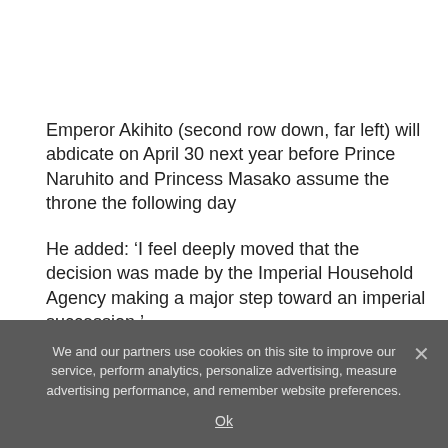Emperor Akihito (second row down, far left) will abdicate on April 30 next year before Prince Naruhito and Princess Masako assume the throne the following day
He added: ‘I feel deeply moved that the decision was made by the Imperial Household Agency making a major step toward an imperial succession.’
We and our partners use cookies on this site to improve our service, perform analytics, personalize advertising, measure advertising performance, and remember website preferences.